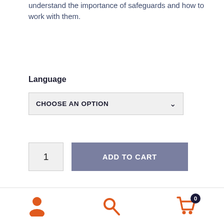understand the importance of safeguards and how to work with them.
Language
CHOOSE AN OPTION
1
ADD TO CART
SKU: N/A
Categories: Online Course, Training Courses
Tags: Equipment Operation, Machine Safeguarding
[Figure (infographic): Footer navigation bar with user account icon (orange), search icon (orange), and shopping cart icon (orange) with a badge showing 0]